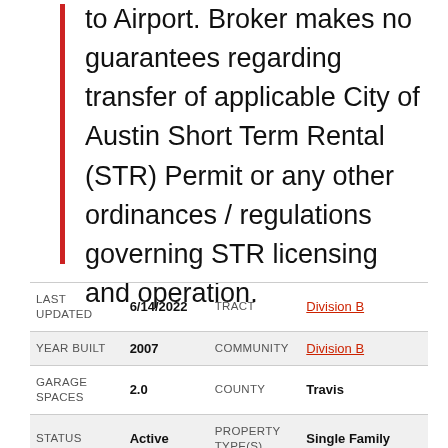to Airport. Broker makes no guarantees regarding transfer of applicable City of Austin Short Term Rental (STR) Permit or any other ordinances / regulations governing STR licensing and operation.
| FIELD | VALUE | FIELD | VALUE |
| --- | --- | --- | --- |
| LAST UPDATED | 6/14/2022 | TRACT | Division B |
| YEAR BUILT | 2007 | COMMUNITY | Division B |
| GARAGE SPACES | 2.0 | COUNTY | Travis |
| STATUS | Active | PROPERTY TYPE(S) | Single Family |